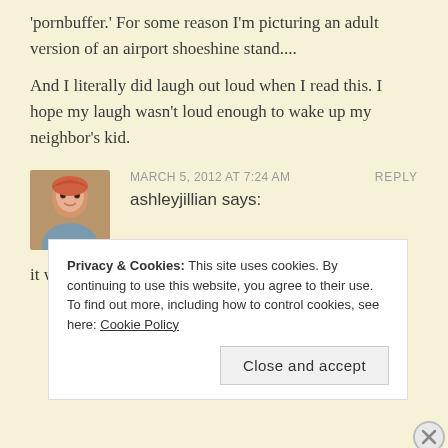'pornbuffer.' For some reason I'm picturing an adult version of an airport shoeshine stand....
And I literally did laugh out loud when I read this. I hope my laugh wasn't loud enough to wake up my neighbor's kid.
MARCH 5, 2012 AT 7:24 AM   REPLY
ashleyjillian says:
it was such a gift, I had to call her out on it
Privacy & Cookies: This site uses cookies. By continuing to use this website, you agree to their use.
To find out more, including how to control cookies, see here: Cookie Policy
Close and accept